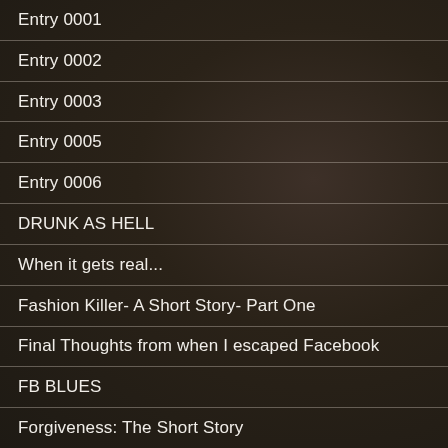Entry 0001
Entry 0002
Entry 0003
Entry 0005
Entry 0006
DRUNK AS HELL
When it gets real...
Fashion Killer- A Short Story- Part One
Final Thoughts from when I escaped Facebook
FB BLUES
Forgiveness: The Short Story